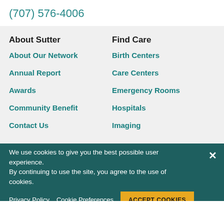(707) 576-4006
About Sutter
Find Care
About Our Network
Birth Centers
Annual Report
Care Centers
Awards
Emergency Rooms
Community Benefit
Hospitals
Contact Us
Imaging
We use cookies to give you the best possible user experience. By continuing to use the site, you agree to the use of cookies.
Privacy Policy   Cookie Preferences   ACCEPT COOKIES